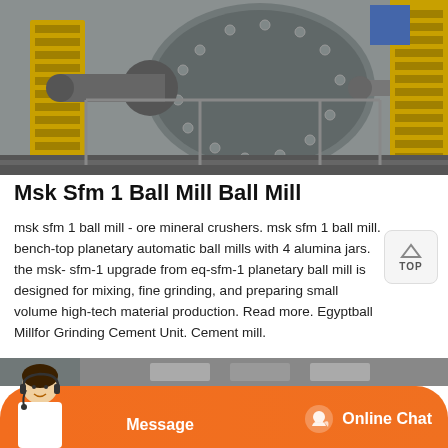[Figure (photo): Industrial ball mill machinery in a factory setting with yellow metal structures, large cylindrical grinding mill, pipes and mechanical components, industrial facility interior.]
Msk Sfm 1 Ball Mill Ball Mill
msk sfm 1 ball mill - ore mineral crushers. msk sfm 1 ball mill. bench-top planetary automatic ball mills with 4 alumina jars. the msk- sfm-1 upgrade from eq-sfm-1 planetary ball mill is designed for mixing, fine grinding, and preparing small volume high-tech material production. Read more. Egyptball Millfor Grinding Cement Unit. Cement mill.
[Figure (photo): Bottom strip showing industrial equipment and a customer service representative (woman with headset). Orange chat bar with Message button and Online Chat button with chat icon.]